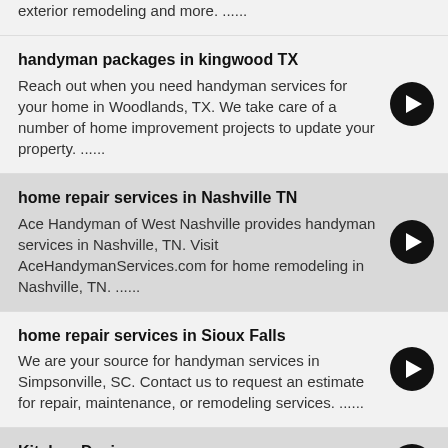exterior remodeling and more. ......
handyman packages in kingwood TX
Reach out when you need handyman services for your home in Woodlands, TX. We take care of a number of home improvement projects to update your property. ......
home repair services in Nashville TN
Ace Handyman of West Nashville provides handyman services in Nashville, TN. Visit AceHandymanServices.com for home remodeling in Nashville, TN. ......
home repair services in Sioux Falls
We are your source for handyman services in Simpsonville, SC. Contact us to request an estimate for repair, maintenance, or remodeling services. ......
Kitchen Design
Are you looking for a kitchen design service